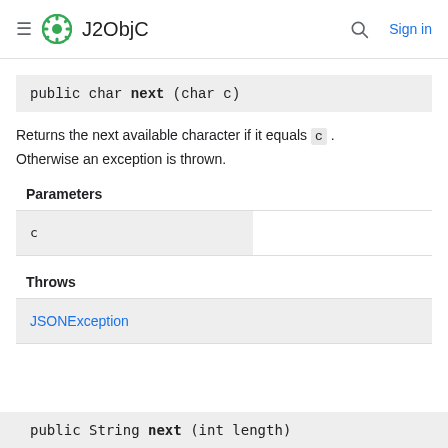J2ObjC  Sign in
public char next (char c)
Returns the next available character if it equals c . Otherwise an exception is thrown.
Parameters
| c |  |
Throws
| JSONException |  |
public String next (int length)